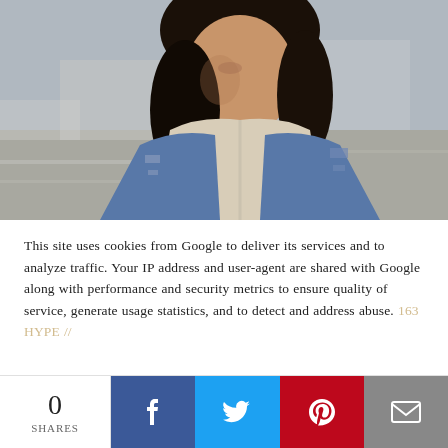[Figure (photo): Young woman with dark hair wearing a distressed denim jacket over a cream hoodie, looking downward, photographed outdoors]
This site uses cookies from Google to deliver its services and to analyze traffic. Your IP address and user-agent are shared with Google along with performance and security metrics to ensure quality of service, generate usage statistics, and to detect and address abuse. 163 HYPE //
0 SHARES